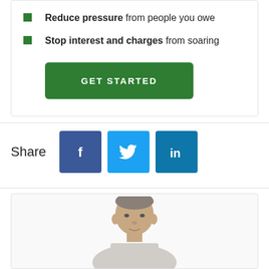Reduce pressure from people you owe
Stop interest and charges from soaring
GET STARTED
Share
[Figure (other): Social media share buttons: Facebook (blue), Twitter (light blue), LinkedIn (dark blue)]
[Figure (photo): Photo of a man from shoulders up, grey hair, looking toward camera, cropped at bottom of frame]